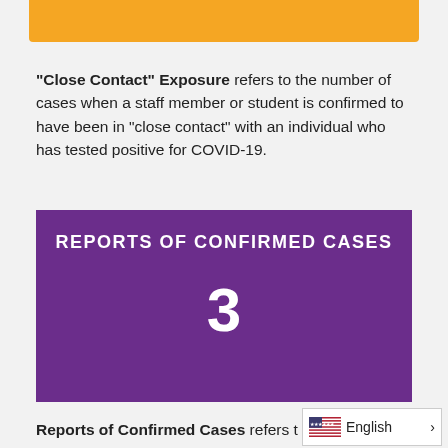[Figure (other): Orange decorative bar at top of page]
“Close Contact” Exposure refers to the number of cases when a staff member or student is confirmed to have been in “close contact” with an individual who has tested positive for COVID-19.
[Figure (infographic): Purple box with white text: REPORTS OF CONFIRMED CASES, with large number 3 displayed below]
Reports of Confirmed Cases refers t...